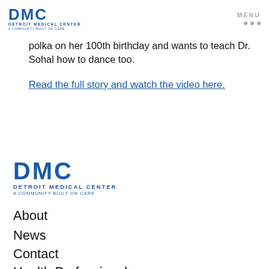[Figure (logo): DMC Detroit Medical Center logo - top header, blue text]
MENU
polka on her 100th birthday and wants to teach Dr. Sohal how to dance too.
Read the full story and watch the video here.
[Figure (logo): DMC Detroit Medical Center footer logo - blue text, larger]
About
News
Contact
Health Professionals